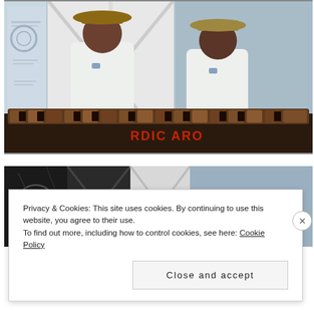[Figure (photo): Two men wearing cowboy hats and white polo shirts playing a marimba instrument. The marimba has wooden bars and the men hold mallets. Behind them is a white barn-style door and a light blue wall with a jewelry store advertisement visible.]
[Figure (photo): Partial view of the same scene — a close-up of the lower portion showing the barn door, light blue wall, and part of a figure, cropped by the cookie consent banner overlay.]
Privacy & Cookies: This site uses cookies. By continuing to use this website, you agree to their use.
To find out more, including how to control cookies, see here: Cookie Policy
Close and accept